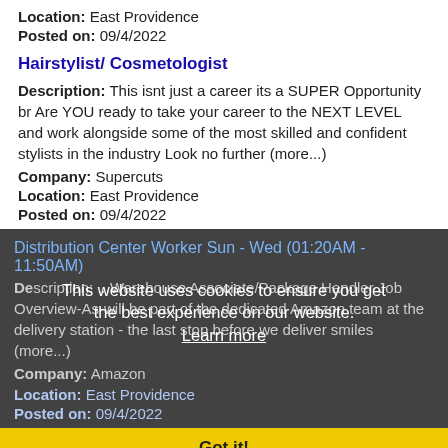Location: East Providence
Posted on: 09/4/2022
Hairstylist/ Cosmetologist
Description: This isnt just a career its a SUPER Opportunity br Are YOU ready to take your career to the NEXT LEVEL and work alongside some of the most skilled and confident stylists in the industry Look no further (more...)
Company: Supercuts
Location: East Providence
Posted on: 09/4/2022
Distribution Center Worker Sun - Wed (01:20AM - 11:50AM)
Description: ...Warehouse Associate/Package Handler Job Overview-As-will be part of the dedicated Amazon team at the delivery station - the last stop before we deliver smiles (more...)
Company: Amazon
Location: East Providence
Posted on: 09/4/2022
This website uses cookies to ensure you get the best experience on our website.
Learn more
Got it!
Salary in Quincy, Massachusetts Area | More details for Quincy, Massachusetts Jobs |Salary